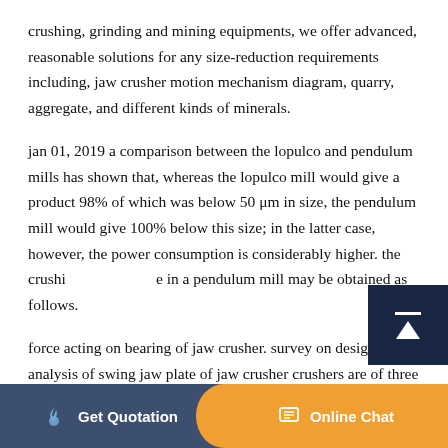crushing, grinding and mining equipments, we offer advanced, reasonable solutions for any size-reduction requirements including, jaw crusher motion mechanism diagram, quarry, aggregate, and different kinds of minerals.
jan 01, 2019 a comparison between the lopulco and pendulum mills has shown that, whereas the lopulco mill would give a product 98% of which was below 50 μm in size, the pendulum mill would give 100% below this size; in the latter case, however, the power consumption is considerably higher. the crushing in a pendulum mill may be obtained as follows.
force acting on bearing of jaw crusher. survey on design analysis of swing jaw plate of jaw crusher crushers are of three types based on the mechanism namely cone crusher, jaw crusher and
[Figure (other): Scroll-to-top button with dark navy background, horizontal bar icon and upward arrow icon in white]
Get Quotation | Online Chat